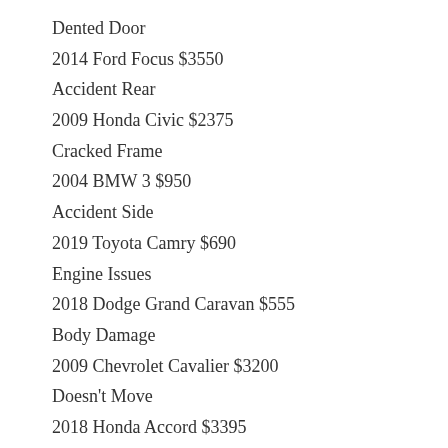Dented Door
2014 Ford Focus $3550
Accident Rear
2009 Honda Civic $2375
Cracked Frame
2004 BMW 3 $950
Accident Side
2019 Toyota Camry $690
Engine Issues
2018 Dodge Grand Caravan $555
Body Damage
2009 Chevrolet Cavalier $3200
Doesn't Move
2018 Honda Accord $3395